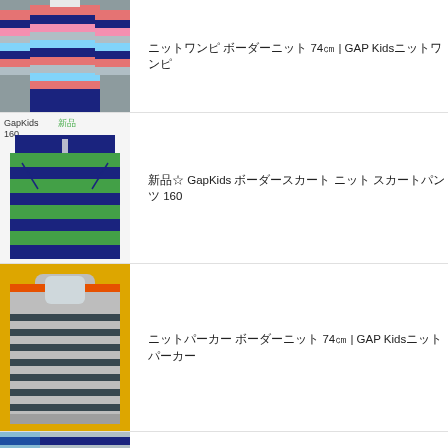[Figure (photo): Colorful striped long-sleeve dress/sweater displayed on a gray background]
ニットワンピ ボーダーニット 74㎝ | GAP Kidsニットワンピ
[Figure (photo): GapKids green and black striped skirt with tag, labeled GapKids 160 新品]
新品☆ GapKids ボーダースカート ニット スカートパンツ 160
[Figure (photo): Beige and navy striped hooded sweater on an orange/yellow background]
ニットパーカー ボーダーニット 74㎝ | GAP Kidsニットパーカー
[Figure (photo): Partial view of a navy blue striped sweater]